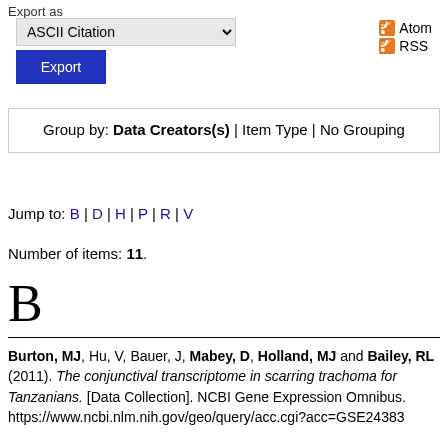Export as
ASCII Citation [dropdown] | Atom | RSS | Export [button]
Group by: Data Creators(s) | Item Type | No Grouping
Jump to: B | D | H | P | R | V
Number of items: 11.
B
Burton, MJ, Hu, V, Bauer, J, Mabey, D, Holland, MJ and Bailey, RL (2011). The conjunctival transcriptome in scarring trachoma for Tanzanians. [Data Collection]. NCBI Gene Expression Omnibus. https://www.ncbi.nlm.nih.gov/geo/query/acc.cgi?acc=GSE24383